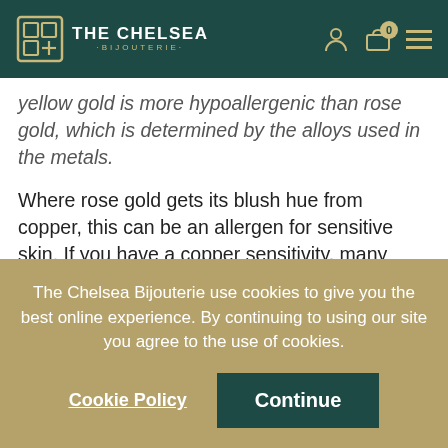THE CHELSEA BIJOUTERIE
yellow gold is more hypoallergenic than rose gold, which is determined by the alloys used in the metals.
Where rose gold gets its blush hue from copper, this can be an allergen for sensitive skin. If you have a copper sensitivity, many users may prefer yellow gold jewellery.
Is Yellow Gold Right for Me?
The Chelsea Bijouterie use cookies to give you the best online experience. By continuing to using our site you agree to the use of cookies.